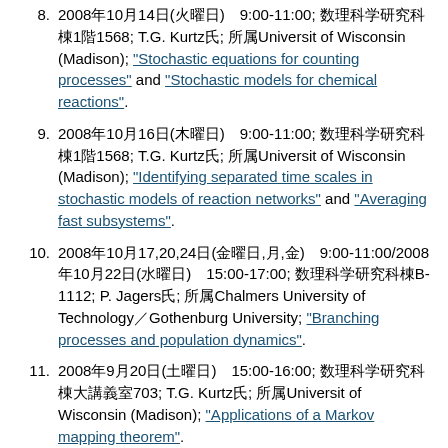8. 2008年10月14日(火曜日)　9:00-11:00; 数理科学研究科棟1階1568; T.G. Kurtz氏; 所属Universit of Wisconsin (Madison); "Stochastic equations for counting processes" and "Stochastic models for chemical reactions".
9. 2008年10月16日(木曜日)　9:00-11:00; 数理科学研究科棟1階1568; T.G. Kurtz氏; 所属Universit of Wisconsin (Madison); "Identifying separated time scales in stochastic models of reaction networks" and "Averaging fast subsystems".
10. 2008年10月17,20,24日(金曜日,月,金)　9:00-11:00/2008年10月22日(水曜日)　15:00-17:00; 数理科学研究科棟B-1112; P. Jagers氏; 所属Chalmers University of Technology／Gothenburg University; "Branching processes and population dynamics".
11. 2008年9月20日(土曜日)　15:00-16:00; 数理科学研究科棟大講義室703; T.G. Kurtz氏; 所属Universit of Wisconsin (Madison); "Applications of a Markov mapping theorem".
12. 2008年10月27日(月曜日)　9:00-11:00; 数理科学研究科棟B-1112; T.G. Kurtz氏; 所属Universit of Wisconsin (Madison); "Particle...